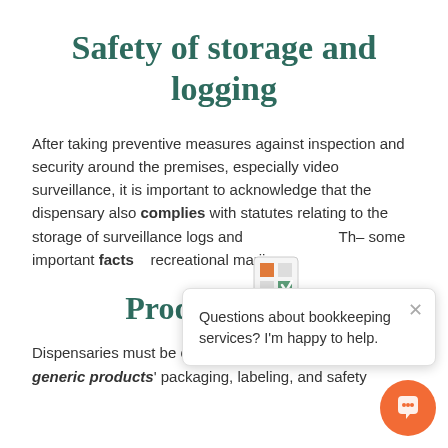Safety of storage and logging
After taking preventive measures against inspection and security around the premises, especially video surveillance, it is important to acknowledge that the dispensary also complies with statutes relating to the storage of surveillance logs and [some text obscured]. The some important facts [obscured] recreational marijuan[a obscured]
Product safety
Dispensaries must be concerned with their generic products' packaging, labeling, and safety